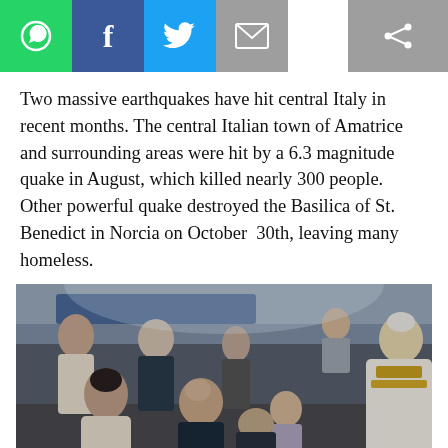[Figure (other): Social media sharing bar with WhatsApp (green), Facebook (blue), Twitter (light blue), Email (grey), and share icon (grey)]
Two massive earthquakes have hit central Italy in recent months. The central Italian town of Amatrice and surrounding areas were hit by a 6.3 magnitude quake in August, which killed nearly 300 people. Other powerful quake destroyed the Basilica of St. Benedict in Norcia on October  30th, leaving many homeless.
[Figure (photo): Group of people meeting Pope Francis, who is wearing white vestments with gold trim. A man holds a small child up to the Pope. Several adults and another child are gathered around smiling in what appears to be an indoor Vatican setting.]